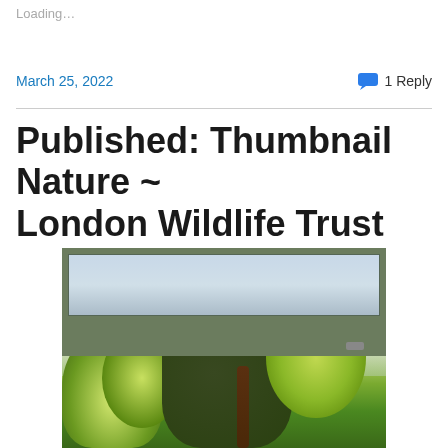Loading…
March 25, 2022
1 Reply
Published: Thumbnail Nature ~ London Wildlife Trust
[Figure (photo): View through an open window looking out at green trees and foliage, with a grey window frame visible.]